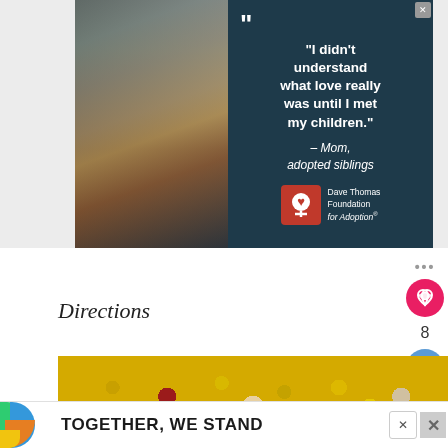[Figure (photo): Advertisement for Dave Thomas Foundation for Adoption featuring a smiling family of four (two adults, two children) on the left side, and on the right side a dark teal background with the quote: "I didn't understand what love really was until I met my children." — Mom, adopted siblings, with the Dave Thomas Foundation for Adoption logo at the bottom.]
Directions
[Figure (photo): Close-up photo of mixed dried beans and corn kernels — yellow corn, dark red kidney beans, and light-colored beans scattered together.]
[Figure (photo): Bottom advertisement banner with colorful geometric shapes on left and bold text reading 'TOGETHER, WE STAND' with close buttons.]